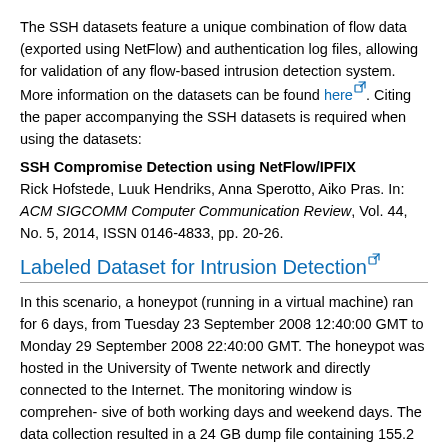The SSH datasets feature a unique combination of flow data (exported using NetFlow) and authentication log files, allowing for validation of any flow-based intrusion detection system. More information on the datasets can be found here. Citing the paper accompanying the SSH datasets is required when using the datasets:
SSH Compromise Detection using NetFlow/IPFIX
Rick Hofstede, Luuk Hendriks, Anna Sperotto, Aiko Pras. In: ACM SIGCOMM Computer Communication Review, Vol. 44, No. 5, 2014, ISSN 0146-4833, pp. 20-26.
Labeled Dataset for Intrusion Detection
In this scenario, a honeypot (running in a virtual machine) ran for 6 days, from Tuesday 23 September 2008 12:40:00 GMT to Monday 29 September 2008 22:40:00 GMT. The honeypot was hosted in the University of Twente network and directly connected to the Internet. The monitoring window is comprehen- sive of both working days and weekend days. The data collection resulted in a 24 GB dump file containing 155.2 million packets. The processing of the dumped data and logs, collected over a period of 6 days, resulted in 14.2M flows and 7.6M alerts. More information on the labeling procedure can be found here.
Pcap Traces